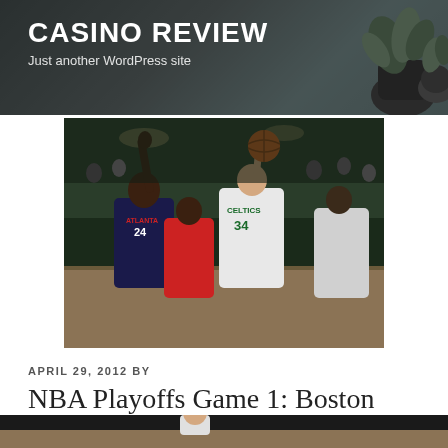CASINO REVIEW
Just another WordPress site
[Figure (photo): NBA basketball game action shot: Atlanta Hawks player #24 defending against Boston Celtics player #34 who is shooting the ball, with other players in the background at an indoor arena]
APRIL 29, 2012 BY
NBA Playoffs Game 1: Boston Celtics vs. Atlanta Hawks
[Figure (photo): Partial view of another basketball game photo at the bottom of the page]